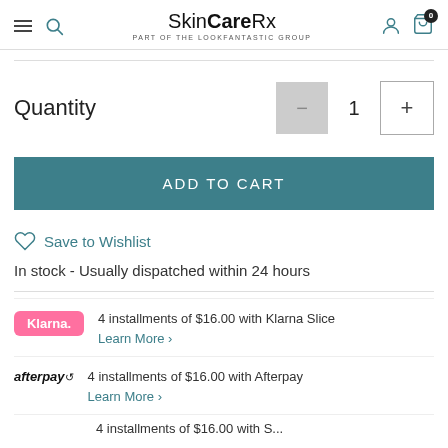SkinCareRx — part of the LOOKFANTASTIC group
Quantity
ADD TO CART
Save to Wishlist
In stock - Usually dispatched within 24 hours
4 installments of $16.00 with Klarna Slice
Learn More >
4 installments of $16.00 with Afterpay
Learn More >
4 installments of $16.00 with S...